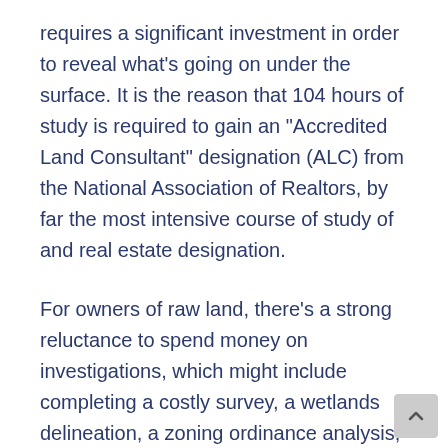requires a significant investment in order to reveal what's going on under the surface. It is the reason that 104 hours of study is required to gain an "Accredited Land Consultant" designation (ALC) from the National Association of Realtors, by far the most intensive course of study of and real estate designation.
For owners of raw land, there's a strong reluctance to spend money on investigations, which might include completing a costly survey, a wetlands delineation, a zoning ordinance analysis, and some assessment of the presence of ledge. Short of gaining this knowledge, coming up with a price is little more than guessing at its value. There may be